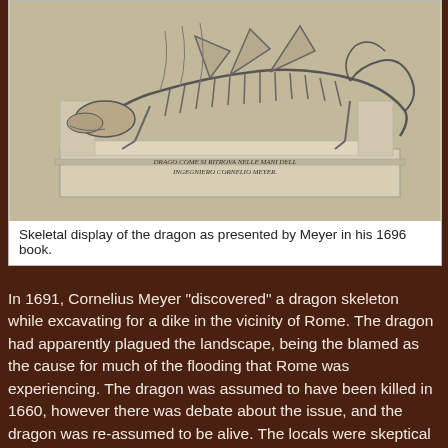[Figure (illustration): Black and white engraving of a dragon skeleton mounted on a display pedestal. The pedestal bears the inscription 'DRAGO COME SI RITROVA NELLE MANI DELL INGEGNIERO CORNELIO MEYER.' The skeleton shows the full body of the dragon posed on the stand.]
Skeletal display of the dragon as presented by Meyer in his 1696 book.
In 1691, Cornelius Meyer "discovered" a dragon skeleton while excavating for a dike in the vicinity of Rome. The dragon had apparently plagued the landscape, being the blamed as the cause for much of the flooding that Rome was experiencing. The dragon was assumed to have been killed in 1660, however there was debate about the issue, and the dragon was re-assumed to be alive. The locals were skeptical of pissing off the dragon by constructing the dikes, so the dragon needed to be dealt with first.
In order to allay the fears of the local populace, Cornelius Meyer went out to "take care of" the dragon, which he so